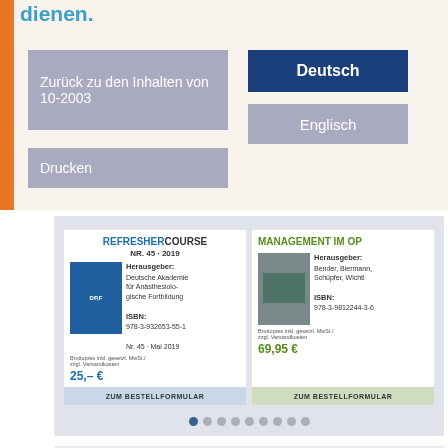dienen.
Zurück zu den Inhalten von 10-2003
Deutsch
Englisch
Drucken
[Figure (screenshot): Carousel showing two book products: REFRESHERCOURSE NR. 45 - 2019 priced at 25,- € and MANAGEMENT IM OP priced at 69,95 €, each with ZUM BESTELLFORMULAR button, and navigation dots at bottom.]
Abstracts